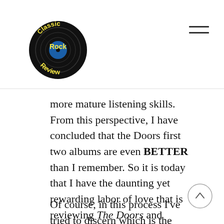Classic Rock Review
more mature listening skills. From this perspective, I have concluded that the Doors first two albums are even BETTER than I remember. So it is today that I have the daunting yet rewarding labor of love that is reviewing The Doors and Strange Days together.
Of course, in this process I've tried to discern which is the greater work and these two albums have, at different times nudged ahead of each other. The albums are very similar with each having a handful of radio-friendly “pop” songs, perhaps one romantic ballad, and an extended tour-de-force to cap off the